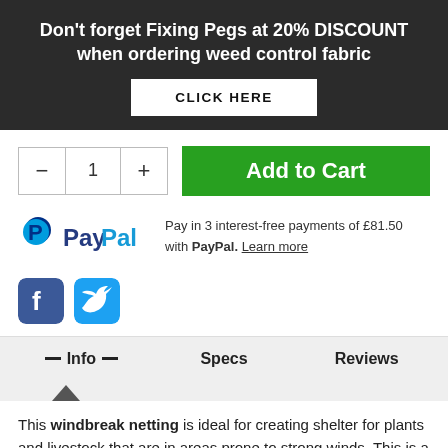Don't forget Fixing Pegs at 20% DISCOUNT when ordering weed control fabric
CLICK HERE
[Figure (other): Quantity selector with minus, 1, plus buttons and green Add to Cart button]
[Figure (logo): PayPal logo with text: Pay in 3 interest-free payments of £81.50 with PayPal. Learn more]
[Figure (other): Facebook and Twitter social share icons]
— Info — | Specs | Reviews
This windbreak netting is ideal for creating shelter for plants and livestock that are in areas prone to strong winds. This is a vital